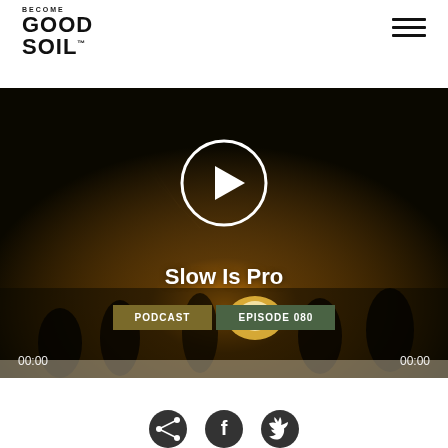BECOME GOOD SOIL™
[Figure (screenshot): Video player showing a dark nighttime outdoor scene with fire and people silhouettes. A white circle play button is centered in the upper portion. Text 'Slow Is Pro' appears below the play button. Two badge labels read 'PODCAST' and 'EPISODE 080'. Timecodes '00:00' appear bottom left and right.]
Slow Is Pro
PODCAST    EPISODE 080
00:00    00:00
[Figure (illustration): Three social media icon buttons: share, Facebook, and Twitter]